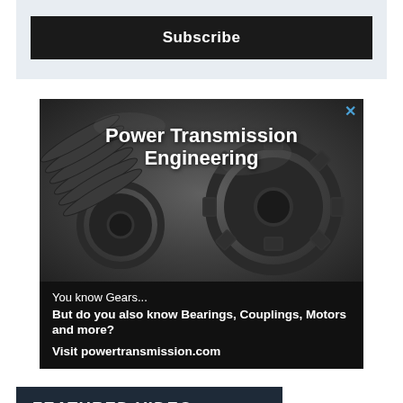[Figure (other): Subscribe button on light blue-grey background]
[Figure (photo): Advertisement for Power Transmission Engineering magazine showing metallic gears background with text: 'Power Transmission Engineering', 'You know Gears...', 'But do you also know Bearings, Couplings, Motors and more?', 'Visit powertransmission.com']
FEATURED VIDEO